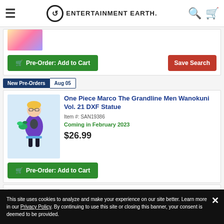Entertainment Earth
[Figure (screenshot): Partial product image of a colorful figure at top of first product card]
Pre-Order: Add to Cart
Save Search
New Pre-Orders Aug 05
One Piece Marco The Grandline Men Wanokuni Vol. 21 DXF Statue
Item #: SAN19386
Coming in February 2023
$26.99
Pre-Order: Add to Cart
One Piece Chronicle Nico Robin Dressrosa Style Glitter & Glamours
This site uses cookies to analyze and make your experience on our site better. Learn more in our Privacy Policy. By continuing to use this site or closing this banner, your consent is deemed to be provided.